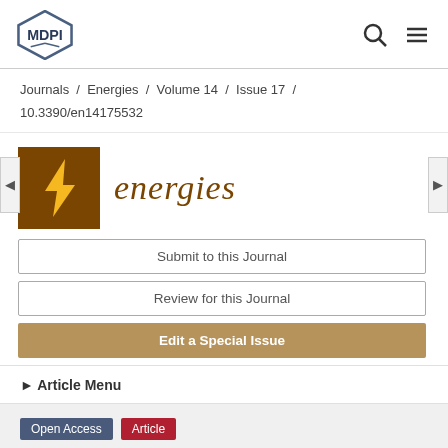MDPI
Journals / Energies / Volume 14 / Issue 17 / 10.3390/en14175532
[Figure (logo): Energies journal logo: brown square with yellow lightning bolt, with italic brown text 'energies']
Submit to this Journal
Review for this Journal
Edit a Special Issue
► Article Menu
Open Access  Article
Degradation Mechanism of